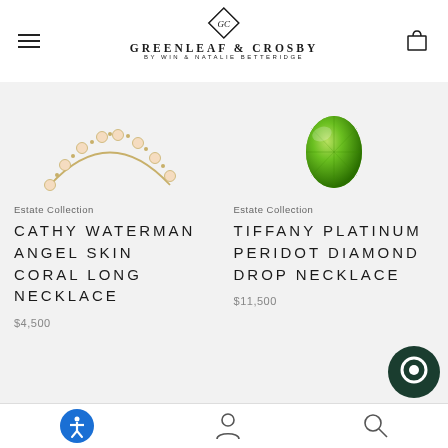GREENLEAF & CROSBY BY WIN & NATALIE BETTERIDGE
[Figure (photo): Cathy Waterman angel skin coral long necklace with gold chain and coral beads]
Estate Collection
CATHY WATERMAN ANGEL SKIN CORAL LONG NECKLACE
$4,500
[Figure (photo): Oval-cut vibrant green peridot gemstone on white background]
Estate Collection
TIFFANY PLATINUM PERIDOT DIAMOND DROP NECKLACE
$11,500
Navigation icons: accessibility, account, search